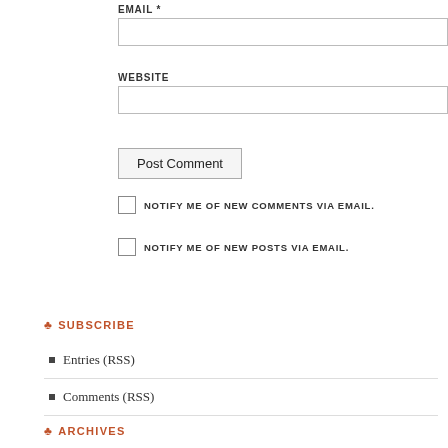EMAIL *
WEBSITE
Post Comment
NOTIFY ME OF NEW COMMENTS VIA EMAIL.
NOTIFY ME OF NEW POSTS VIA EMAIL.
♣ SUBSCRIBE
Entries (RSS)
Comments (RSS)
♣ ARCHIVES
May 2022